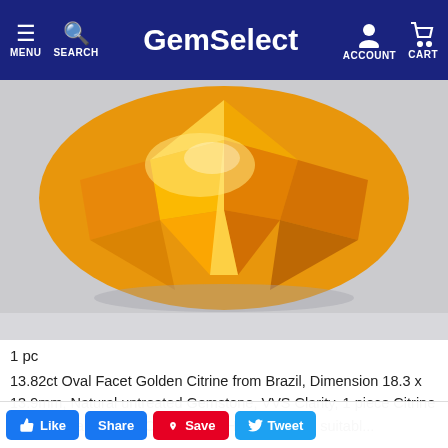GemSelect — MENU SEARCH ACCOUNT CART
Home  Gemstones  Citrine  Item ID = 435667
[Figure (photo): Close-up photo of a 13.82ct oval facet golden citrine gemstone from Brazil, showing brilliant orange-gold facets on a grey background.]
1 pc
13.82ct Oval Facet Golden Citrine from Brazil, Dimension 18.3 x 13.9mm, Natural untreated Gemstone, VVS Clarity, 1 piece Citrine in Dark Orange-gold Color, Mohs Hardness of 7 suitabl...